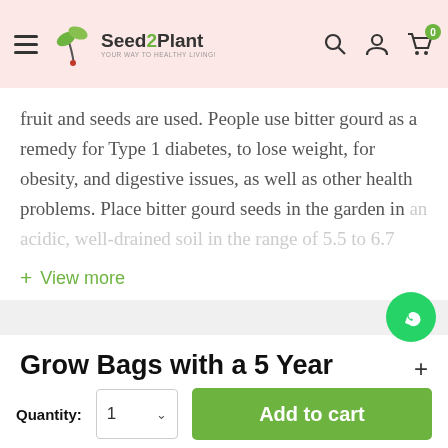Seed2Plant — YOUR WAY TO HEALTHY LIVING!
fruit and seeds are used. People use bitter gourd as a remedy for Type 1 diabetes, to lose weight, for obesity, and digestive issues, as well as other health problems. Place bitter gourd seeds in the garden in an acidic, well-drained soil in the range of 5.5 to 6.7
+ View more
Grow Bags with a 5 Year Replacement Guarantee
Quantity: 1  Add to cart